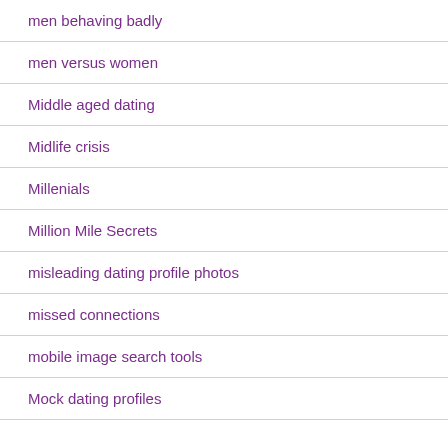men behaving badly
men versus women
Middle aged dating
Midlife crisis
Millenials
Million Mile Secrets
misleading dating profile photos
missed connections
mobile image search tools
Mock dating profiles